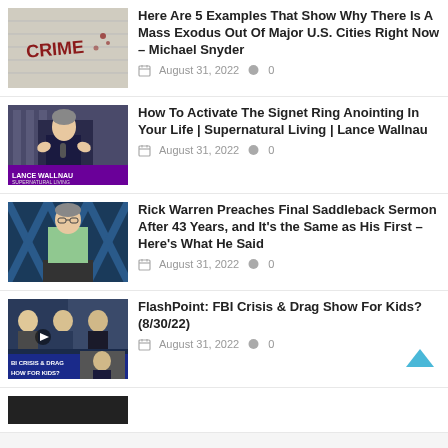Here Are 5 Examples That Show Why There Is A Mass Exodus Out Of Major U.S. Cities Right Now – Michael Snyder | August 31, 2022 | 0 comments
How To Activate The Signet Ring Anointing In Your Life | Supernatural Living | Lance Wallnau | August 31, 2022 | 0 comments
Rick Warren Preaches Final Saddleback Sermon After 43 Years, and It's the Same as His First – Here's What He Said | August 31, 2022 | 0 comments
FlashPoint: FBI Crisis & Drag Show For Kids? (8/30/22) | August 31, 2022 | 0 comments